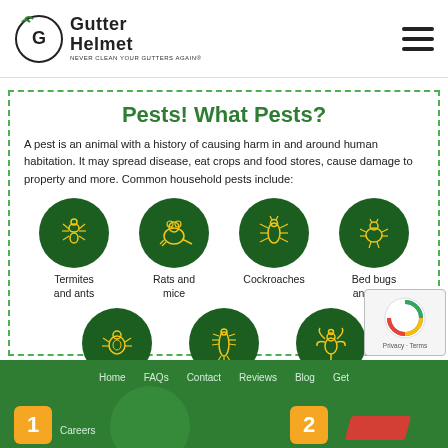Gutter Helmet — NEVER CLEAN YOUR GUTTERS AGAIN®
Pests! What Pests?
A pest is an animal with a history of causing harm in and around human habitation. It may spread disease, eat crops and food stores, cause damage to property and more. Common household pests include:
[Figure (infographic): Six green circles with yellow insect/animal icons: Termites and ants, Rats and mice, Cockroaches, Bed bugs and fleas, Carpet beetles, Silverfish, Wasps]
Home  FAQs  Contact  Reviews  Blog  Get  Careers — numbered badges 1, 2